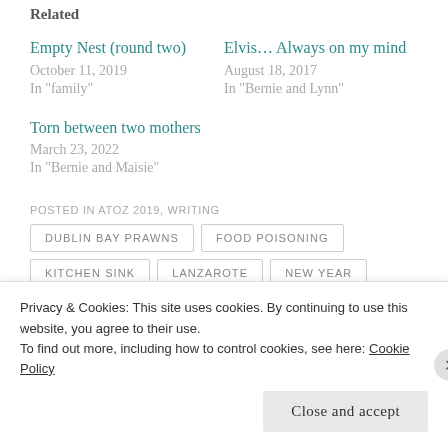Related
Empty Nest (round two)
October 11, 2019
In "family"
Elvis... Always on my mind
August 18, 2017
In "Bernie and Lynn"
Torn between two mothers
March 23, 2022
In "Bernie and Maisie"
POSTED IN ATOZ 2019, WRITING
DUBLIN BAY PRAWNS
FOOD POISONING
KITCHEN SINK
LANZAROTE
NEW YEAR
Privacy & Cookies: This site uses cookies. By continuing to use this website, you agree to their use.
To find out more, including how to control cookies, see here: Cookie Policy
Close and accept